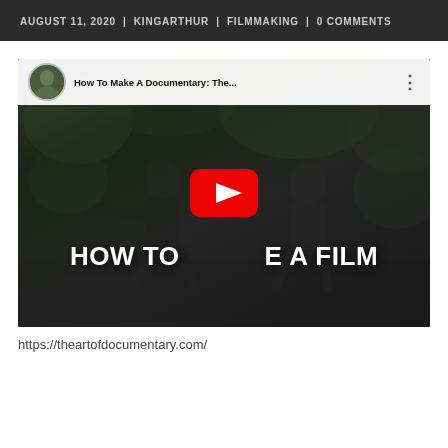AUGUST 11, 2020  |  KINGARTHUR  |  FILMMAKING  |  0 COMMENTS
[Figure (screenshot): YouTube video thumbnail embed showing two men crouching with a camera, overlaid with bold white text 'HOW TO [play button] E A FILM'. The YouTube top bar shows title 'How To Make A Documentary: The...' with a user avatar and three-dot menu.]
https://theartofdocumentary.com/